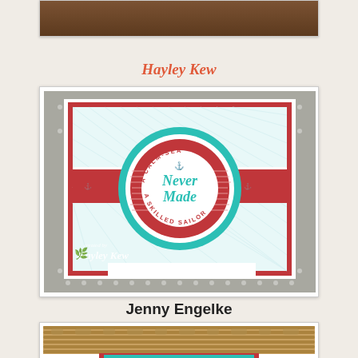[Figure (photo): Partial top photo showing a wooden surface or frame, cropped at top of page]
Hayley Kew
[Figure (photo): Handmade stamped card with nautical theme. Teal/aqua and red color scheme. Circular badge stamp reads 'A Calm Sea Never Made A Skilled Sailor' with 'Never Made' in teal script in the center. Card has striped aqua background with red band across middle. Dotted gray background paper. Watermark reads 'created by Hayley Kew' with floral logo.]
Jenny Engelke
[Figure (photo): Partial bottom photo showing a woven basket/straw surface with a small glimpse of a red and teal card at the bottom, cropped at bottom of page]